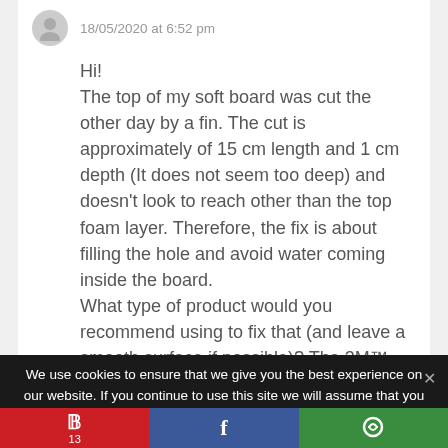18/05/2020 at 6:52 pm
Hi!
The top of my soft board was cut the other day by a fin. The cut is approximately of 15 cm length and 1 cm depth (It does not seem too deep) and doesn't look to reach other than the top foam layer. Therefore, the fix is about filling the hole and avoid water coming inside the board.
What type of product would you recommend using to fix that (and leave a smooth surface if possible)? The 3M™
We use cookies to ensure that we give you the best experience on our website. If you continue to use this site we will assume that you are happy with it.
[Figure (infographic): Social share bar with Pinterest (red, P icon, count 13), Facebook (blue, f icon), and another share option (green, circular arrow icon)]